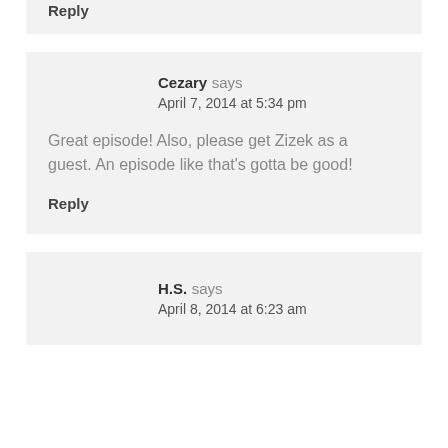Reply
Cezary says
April 7, 2014 at 5:34 pm
Great episode! Also, please get Zizek as a guest. An episode like that's gotta be good!
Reply
H.S. says
April 8, 2014 at 6:23 am